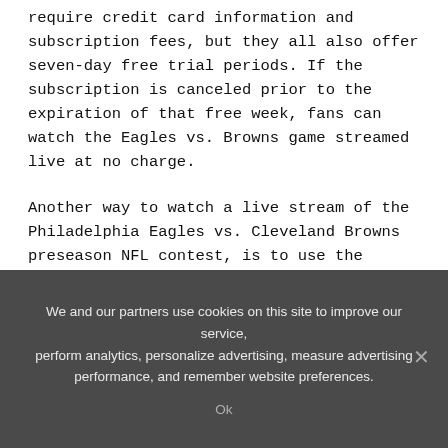require credit card information and subscription fees, but they all also offer seven-day free trial periods. If the subscription is canceled prior to the expiration of that free week, fans can watch the Eagles vs. Browns game streamed live at no charge.
Another way to watch a live stream of the Philadelphia Eagles vs. Cleveland Browns preseason NFL contest, is to use the stream provided by Fox Sports Go. Be aware that accessing the Fox Sports Go live stream requires login credentials from a cable or satellite TV provider subscription.
Philadelphia Eagles fans who live in the local TV market will be able to watch the game against the Cleveland
We and our partners use cookies on this site to improve our service, perform analytics, personalize advertising, measure advertising performance, and remember website preferences.
Ok